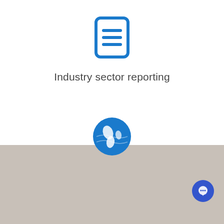[Figure (logo): Blue document/report icon with horizontal lines, rounded rectangle outline]
Industry sector reporting
[Figure (logo): Blue globe/earth icon showing Americas]
We use cookies on our website to give you the most relevant experience by remembering your preferences and repeat visits. By clicking “Accept All”, you consent to the use of ALL the cookies. However, you may visit "Cookie Settings" to provide a controlled consent.
Cookie Settings | Accept All